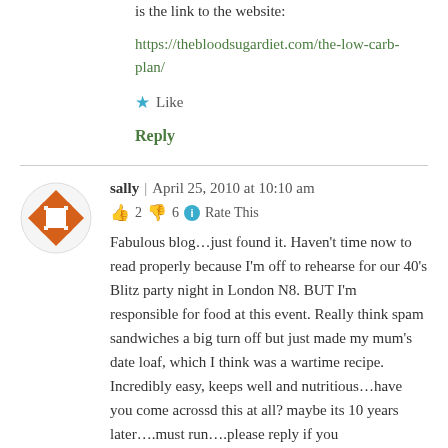is the link to the website:
https://thebloodsugardiet.com/the-low-carb-plan/
★ Like
Reply
sally | April 25, 2010 at 10:10 am
👍 2 👎 6 ℹ Rate This
Fabulous blog…just found it. Haven't time now to read properly because I'm off to rehearse for our 40's Blitz party night in London N8. BUT I'm responsible for food at this event. Really think spam sandwiches a big turn off but just made my mum's date loaf, which I think was a wartime recipe. Incredibly easy, keeps well and nutritious…have you come acrossd this at all? maybe its 10 years later….must run….please reply if you